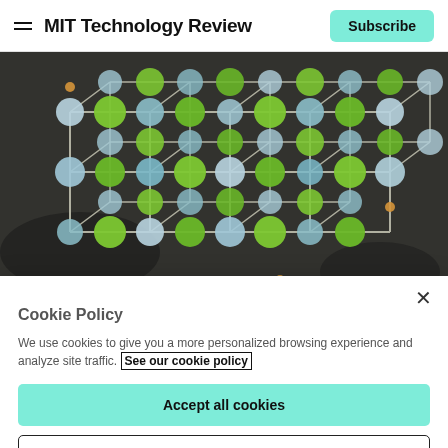MIT Technology Review
[Figure (photo): Close-up photograph of a 3D molecular model structure with green and light blue spheres connected by metal rods in a lattice framework, on a dark background.]
Cookie Policy
We use cookies to give you a more personalized browsing experience and analyze site traffic. See our cookie policy
Accept all cookies
Cookies settings